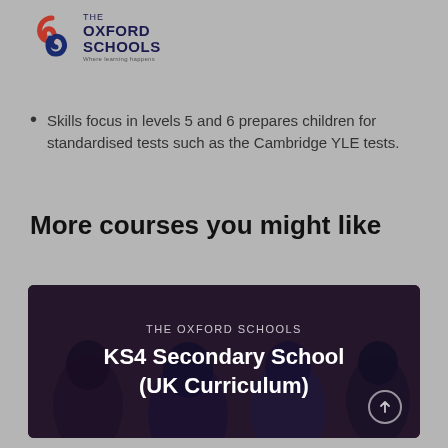[Figure (logo): The Oxford Schools logo with red and blue swirl icon and text 'THE OXFORD SCHOOLS - Where learning happens']
Skills focus in levels 5 and 6 prepares children for standardised tests such as the Cambridge YLE tests.
More courses you might like
[Figure (photo): KS4 Secondary School (UK Curriculum) course card with dark blue-red gradient overlay and students in background. Text: THE OXFORD SCHOOLS / KS4 Secondary School (UK Curriculum)]